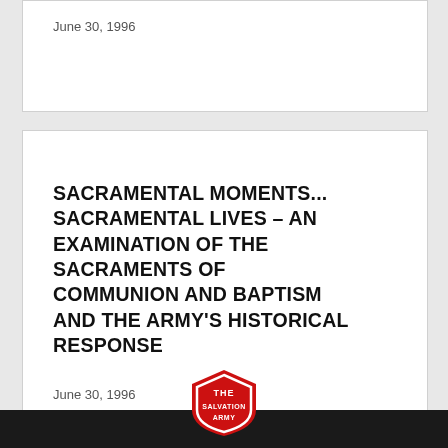June 30, 1996
SACRAMENTAL MOMENTS... SACRAMENTAL LIVES – AN EXAMINATION OF THE SACRAMENTS OF COMMUNION AND BAPTISM AND THE ARMY'S HISTORICAL RESPONSE
June 30, 1996
[Figure (logo): The Salvation Army red shield logo, partially visible at bottom center of page]